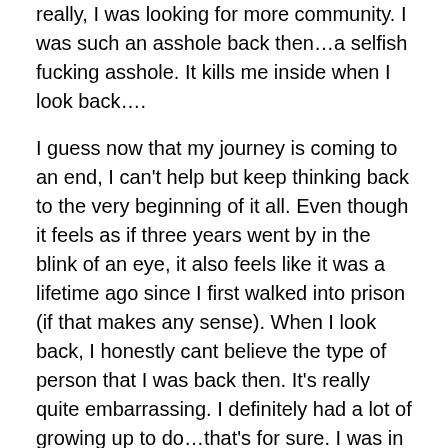really, I was looking for more community. I was such an asshole back then…a selfish fucking asshole. It kills me inside when I look back….
I guess now that my journey is coming to an end, I can't help but keep thinking back to the very beginning of it all. Even though it feels as if three years went by in the blink of an eye, it also feels like it was a lifetime ago since I first walked into prison (if that makes any sense). When I look back, I honestly cant believe the type of person that I was back then. It's really quite embarrassing. I definitely had a lot of growing up to do…that's for sure. I was in desperate need of a wake up call and a major reality check. What better place for such needs than in prison?
Regardless of however I happened to be feeling when I first walked into jail–whether it was anger, selfishness, despair or whatever the fuck else I may have been going